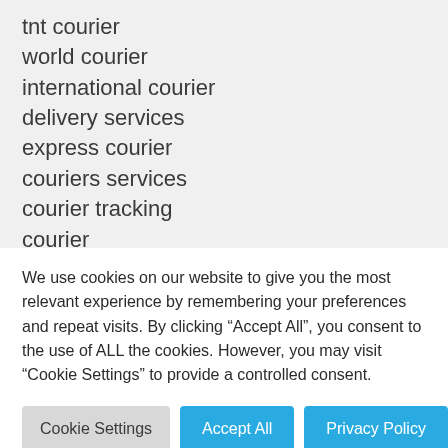tnt courier
world courier
international courier
delivery services
express courier
couriers services
courier tracking
courier
express delivery
overnight courier
services
We use cookies on our website to give you the most relevant experience by remembering your preferences and repeat visits. By clicking “Accept All”, you consent to the use of ALL the cookies. However, you may visit “Cookie Settings” to provide a controlled consent.